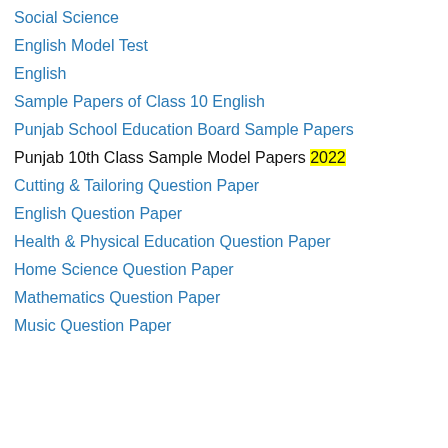Social Science
English Model Test
English
Sample Papers of Class 10 English
Punjab School Education Board Sample Papers
Punjab 10th Class Sample Model Papers 2022
Cutting & Tailoring Question Paper
English Question Paper
Health & Physical Education Question Paper
Home Science Question Paper
Mathematics Question Paper
Music Question Paper